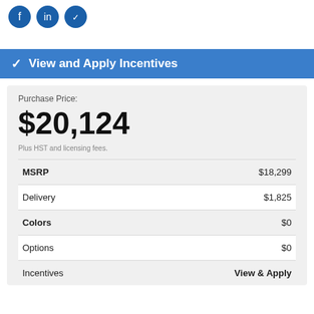[Figure (logo): Three blue circle icons at top]
View and Apply Incentives
Purchase Price:
$20,124
Plus HST and licensing fees.
| Item | Price |
| --- | --- |
| MSRP | $18,299 |
| Delivery | $1,825 |
| Colors | $0 |
| Options | $0 |
| Incentives | View & Apply |